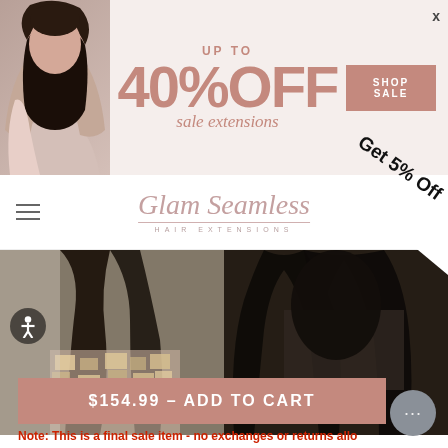[Figure (screenshot): E-commerce banner ad with model photo, text 'UP TO 40% OFF sale extensions' and 'SHOP SALE' button]
[Figure (logo): Glam Seamless Hair Extensions logo in script font]
Get 5% Off
[Figure (photo): Two product photos showing women with dark hair extensions]
$154.99 - ADD TO CART
Note: This is a final sale item - no exchanges or returns allo
IN STOCK: SHIPS MONDAY!